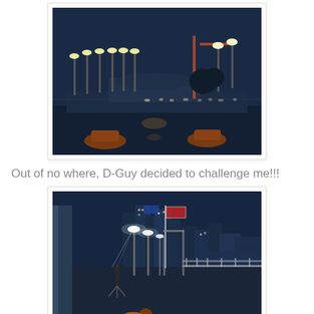[Figure (photo): Nighttime outdoor plaza or waterfront scene with many streetlights illuminating a dark area; potted plants visible in foreground; dark blue sky in background.]
Out of no where, D-Guy decided to challenge me!!!
[Figure (photo): Nighttime waterfront promenade or pier with city skyline in background; a person standing with a tripod in the middle distance; a dog in the foreground wearing an orange vest; streetlights lining the walkway.]